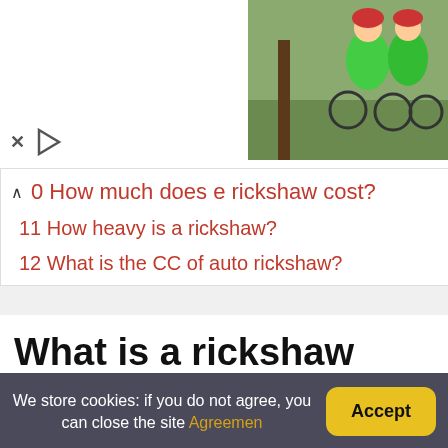[Figure (photo): Two cyclists in green jackets outdoors]
10 How much does e rickshaw cost?
11 How heavy is a rickshaw?
12 What is the CC of auto rickshaw?
What is a rickshaw driver called?
Also called: jinrikisha a small. Most of rickshaw drivers don t care about traffic rules and even enter areas,where these vehicles are banned, traffic department.
We store cookies: if you do not agree, you can close the site Agreemen